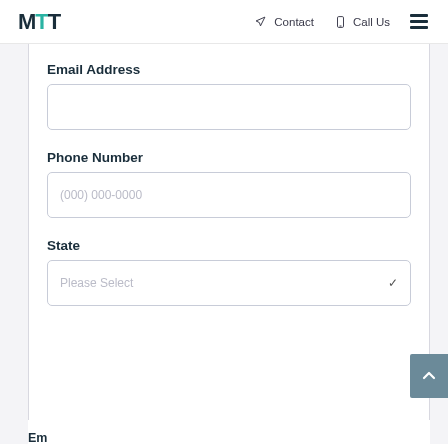MTT  Contact  Call Us
Email Address
Phone Number
(000) 000-0000
State
Please Select